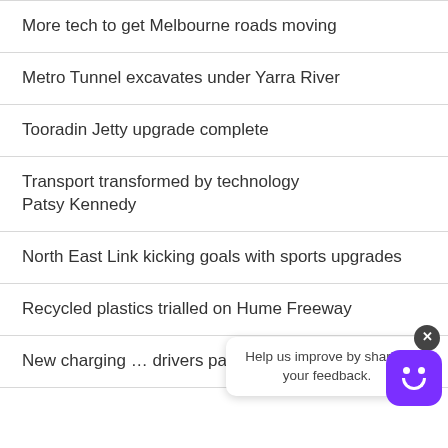More tech to get Melbourne roads moving
Metro Tunnel excavates under Yarra River
Tooradin Jetty upgrade complete
Transport transformed by technology
Patsy Kennedy
North East Link kicking goals with sports upgrades
Recycled plastics trialled on Hume Freeway
New charging … drivers pay their fair share